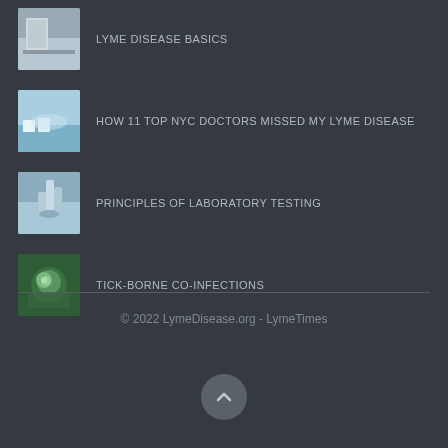LYME DISEASE BASICS
HOW 11 TOP NYC DOCTORS MISSED MY LYME DISEASE
PRINCIPLES OF LABORATORY TESTING
TICK-BORNE CO-INFECTIONS
© 2022 LymeDisease.org - LymeTimes